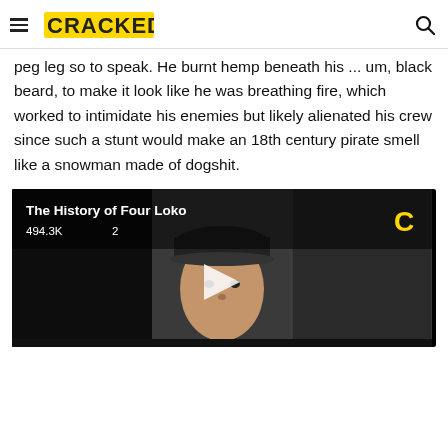CRACKED
peg leg so to speak. He burnt hemp beneath his ... um, black beard, to make it look like he was breathing fire, which worked to intimidate his enemies but likely alienated his crew since such a stunt would make an 18th century pirate smell like a snowman made of dogshit.
[Figure (screenshot): Video thumbnail for 'The History of Four Loko' showing a person wearing a cap, with stats 494.3K views and 2 comments, and a play button overlay. Cracked logo 'C' in gold on upper right.]